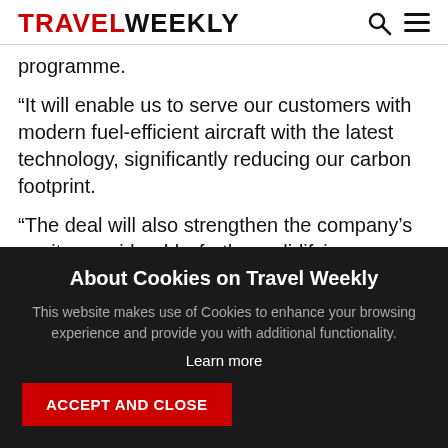TRAVEL WEEKLY
programme.
“It will enable us to serve our customers with modern fuel-efficient aircraft with the latest technology, significantly reducing our carbon footprint.
“The deal will also strengthen the company’s equity considerably, further solidifying Norwegian’s financial
About Cookies on Travel Weekly
This website makes use of Cookies to enhance your browsing experience and provide you with additional functionality.
Learn more
ACCEPT AND CLOSE